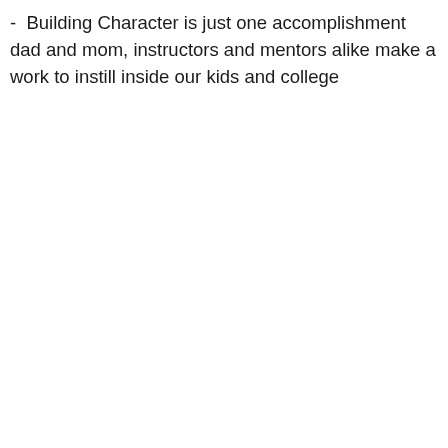- Building Character is just one accomplishment dad and mom, instructors and mentors alike make a work to instill inside our kids and college